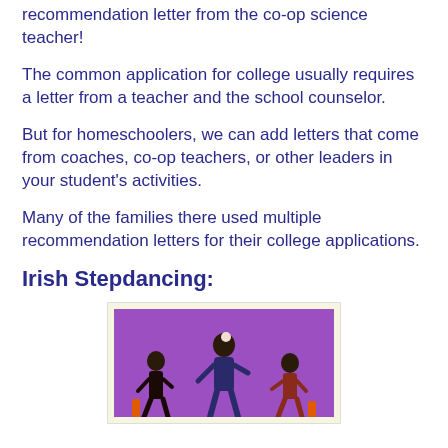recommendation letter from the co-op science teacher!
The common application for college usually requires a letter from a teacher and the school counselor.
But for homeschoolers, we can add letters that come from coaches, co-op teachers, or other leaders in your student's activities.
Many of the families there used multiple recommendation letters for their college applications.
Irish Stepdancing:
[Figure (photo): Photo of Irish stepdancers performing on a purple stage background, showing one central dancer and others to the sides]